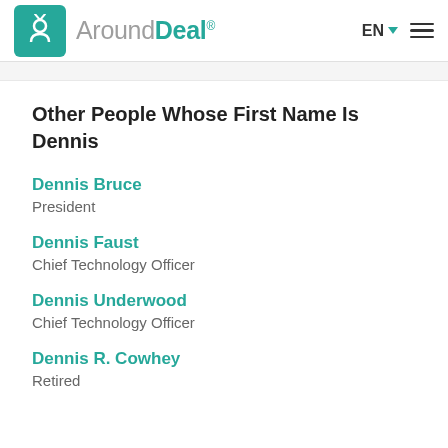AroundDeal® — EN
Other People Whose First Name Is Dennis
Dennis Bruce
President
Dennis Faust
Chief Technology Officer
Dennis Underwood
Chief Technology Officer
Dennis R. Cowhey
Retired